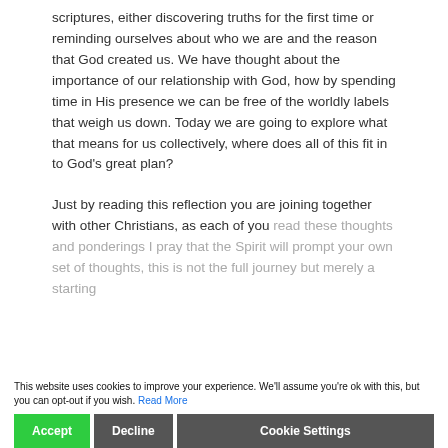scriptures, either discovering truths for the first time or reminding ourselves about who we are and the reason that God created us. We have thought about the importance of our relationship with God, how by spending time in His presence we can be free of the worldly labels that weigh us down. Today we are going to explore what that means for us collectively, where does all of this fit in to God's great plan?
Just by reading this reflection you are joining together with other Christians, as each of you read these thoughts and ponderings I pray that the Spirit will prompt your own set of thoughts, this is not the full journey but merely a starting ... hard to help you on... When Christians come together in some way,
This website uses cookies to improve your experience. We'll assume you're ok with this, but you can opt-out if you wish. Read More